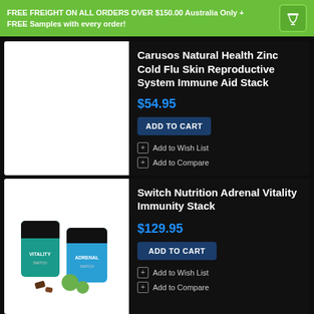FREE FREIGHT ON ALL ORDERS OVER $150.00 Australia Only + FREE Samples with every order!
[Figure (photo): White empty product image placeholder for Carusos Natural Health Zinc Cold Flu Skin Reproductive System Immune Aid Stack]
Carusos Natural Health Zinc Cold Flu Skin Reproductive System Immune Aid Stack
$54.95
ADD TO CART
Add to Wish List
Add to Compare
[Figure (photo): Switch Nutrition Adrenal Vitality Immunity Stack product photo showing two supplement containers labeled VITALITY and ADRENAL with green apples and chocolate in background]
Switch Nutrition Adrenal Vitality Immunity Stack
$129.95
ADD TO CART
Add to Wish List
Add to Compare